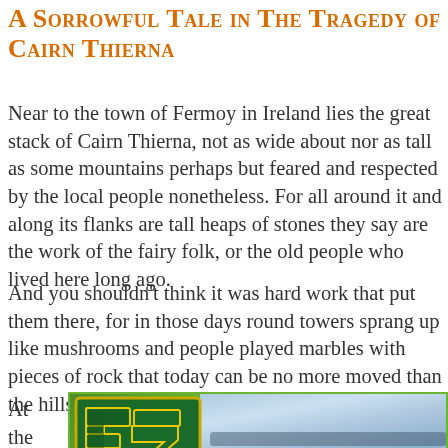A Sorrowful Tale in the Tragedy of Cairn Thierna
Near to the town of Fermoy in Ireland lies the great stack of Cairn Thierna, not as wide about nor as tall as some mountains perhaps but feared and respected by the local people nonetheless. For all around it and along its flanks are tall heaps of stones they say are the work of the fairy folk, or the old people who lived here long ago.
And you shouldn't think it was hard work that put them there, for in those days round towers sprang up like mushrooms and people played marbles with pieces of rock that today can be no more moved than the hills.
At
the
very
top
[Figure (logo): Green and yellow stylized letter logo (appears to be 'FZ' or similar Celtic-style monogram) on a green background with a blurred blue-grey sky/landscape on the right side]